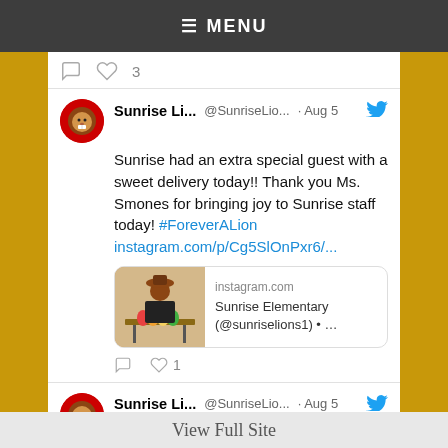MENU
Sunrise Li... @SunriseLio... · Aug 5 — Sunrise had an extra special guest with a sweet delivery today!! Thank you Ms. Smones for bringing joy to Sunrise staff today! #ForeverALion instagram.com/p/Cg5SlOnPxr6/...
[Figure (screenshot): Instagram link preview card showing a woman with colorful drinks at a table. Text: instagram.com, Sunrise Elementary (@sunriselions1) • …]
Sunrise Li... @SunriseLio... · Aug 5 — Sunrise was proud to host the #DVUSD K-6
View Full Site